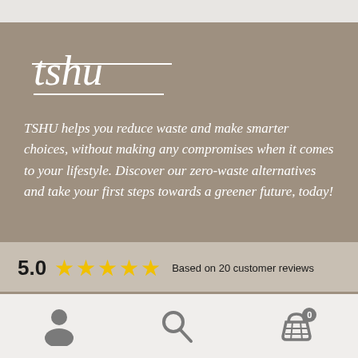[Figure (logo): TSHU brand logo in white cursive script with underline, on taupe/brown background]
TSHU helps you reduce waste and make smarter choices, without making any compromises when it comes to your lifestyle. Discover our zero-waste alternatives and take your first steps towards a greener future, today!
5.0 ★★★★★ Based on 20 customer reviews
Menu
[Figure (infographic): Mobile app bottom navigation bar with user account icon, search/magnifying glass icon, and shopping basket icon with badge showing 0]